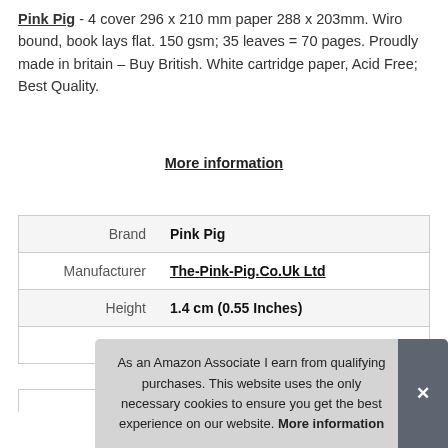Pink Pig - 4 cover 296 x 210 mm paper 288 x 203mm. Wiro bound, book lays flat. 150 gsm; 35 leaves = 70 pages. Proudly made in britain – Buy British. White cartridge paper, Acid Free; Best Quality.
More information
|  |  |
| --- | --- |
| Brand | Pink Pig |
| Manufacturer | The-Pink-Pig.Co.Uk Ltd |
| Height | 1.4 cm (0.55 Inches) |
| Length | 30.4 cm (11.97 Inches) |
As an Amazon Associate I earn from qualifying purchases. This website uses the only necessary cookies to ensure you get the best experience on our website. More information